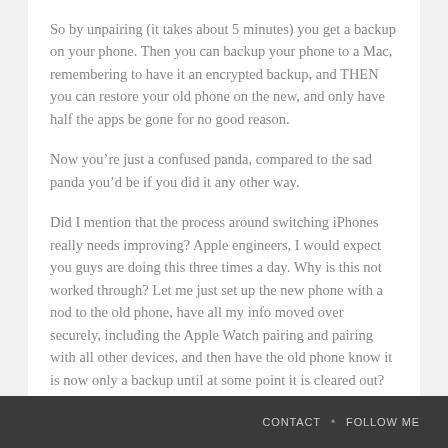So by unpairing (it takes about 5 minutes) you get a backup on your phone. Then you can backup your phone to a Mac, remembering to have it an encrypted backup, and THEN you can restore your old phone on the new, and only have half the apps be gone for no good reason.
Now you’re just a confused panda, compared to the sad panda you’d be if you did it any other way.
Did I mention that the process around switching iPhones really needs improving? Apple engineers, I would expect you guys are doing this three times a day. Why is this not worked through? Let me just set up the new phone with a nod to the old phone, have all my info moved over securely, including the Apple Watch pairing and pairing with all other devices, and then have the old phone know it is now only a backup until at some point it is cleared out?
CONTACT • FOLLOW ME